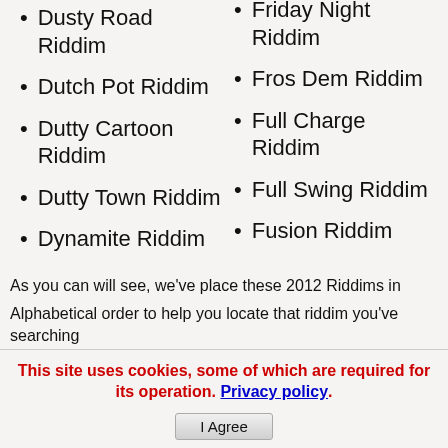Dusty Road Riddim
Dutch Pot Riddim
Dutty Cartoon Riddim
Dutty Town Riddim
Dynamite Riddim
Friday Night Riddim
Fros Dem Riddim
Full Charge Riddim
Full Swing Riddim
Fusion Riddim
As you can will see, we've place these 2012 Riddims in
Alphabetical order to help you locate that riddim you've searching
This site uses cookies, some of which are required for its operation. Privacy policy. I Agree